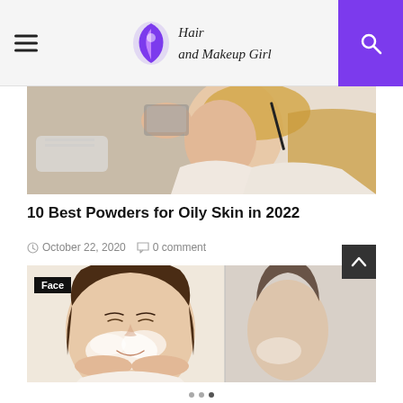Hair and Makeup Girl
[Figure (photo): Woman holding a mirror and applying makeup with a pencil, blonde hair, sitting in a bright room]
10 Best Powders for Oily Skin in 2022
October 22, 2020   0 comment
[Figure (photo): Woman with eyes closed applying white face wash/cream to her face, smiling; mirror reflection visible on the right. Tag: Face]